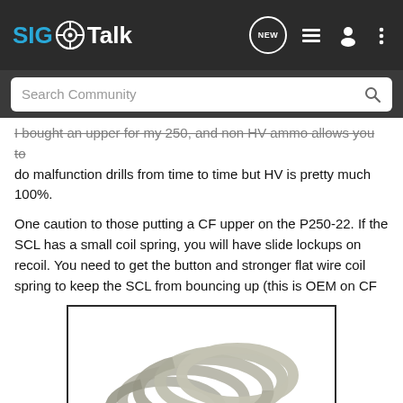SIG Talk
I bought an upper for my 250, and non HV ammo allows you to do malfunction drills from time to time but HV is pretty much 100%.
One caution to those putting a CF upper on the P250-22. If the SCL has a small coil spring, you will have slide lockups on recoil. You need to get the button and stronger flat wire coil spring to keep the SCL from bouncing up (this is OEM on CF
[Figure (photo): Photo of a metal flat wire coil spring (recoil spring), shown against a white background inside a black-bordered frame.]